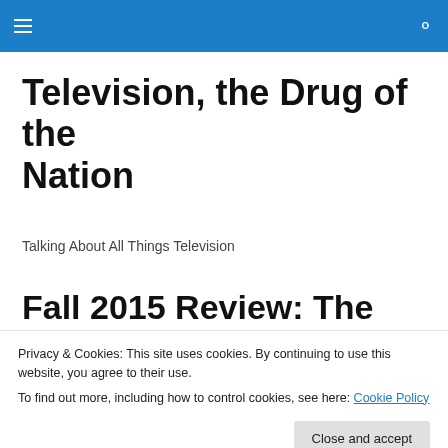Television, the Drug of the Nation — site navigation header
Television, the Drug of the Nation
Talking About All Things Television
Fall 2015 Review: The Player
[Figure (photo): Dark-toned photograph partially visible behind cookie banner]
Privacy & Cookies: This site uses cookies. By continuing to use this website, you agree to their use.
To find out more, including how to control cookies, see here: Cookie Policy
Close and accept